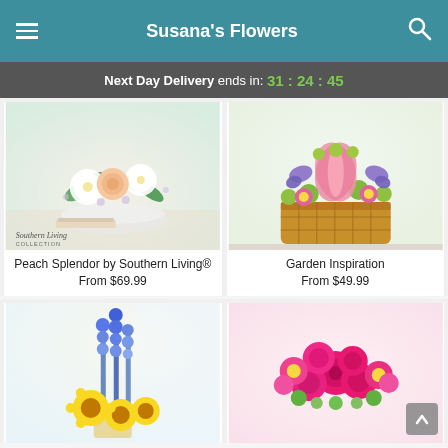Susana's Flowers
Next Day Delivery ends in: 31 : 24 : 45
[Figure (photo): Flower arrangement with peach rose and white chrysanthemums in glass bowl, Southern Living Collection badge]
Peach Splendor by Southern Living®
From $69.99
[Figure (photo): Colorful flower arrangement with pink lilies, purple butterflies, and daisies in a wicker basket]
Garden Inspiration
From $49.99
[Figure (photo): Blue delphinium and yellow sunflower arrangement]
[Figure (photo): Vibrant pink rose and gerbera daisy bouquet]